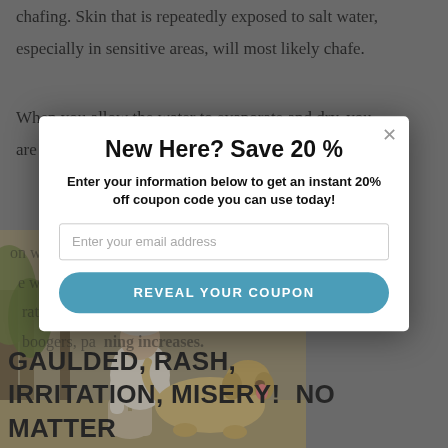chafing. Skin that is repeatedly exposed to salt water, especially in sensitive areas, will most likely chafe.
When you allow the water to evaporate and dry, you are left with salt ions on the skin.  These little boogers
[Figure (photo): A man in a white cap and shirt crouching with a yellow Labrador dog outdoors among trees]
on when you boogie board, walk, and with sweat... rates and the sun remaining error, boogers, pain and more.
GAULDED, RASH, IRRITATION, MISERY!  NO MATTER WHAT YOU CALL IT, IT'S PAINFUL AND CAN BE INCREDIBLY FRUSTRATING.
[Figure (screenshot): A popup modal overlay with title 'New Here? Save 20 %', subtitle 'Enter your information below to get an instant 20% off coupon code you can use today!', an email input field, and a 'REVEAL YOUR COUPON' button. Close X in top right corner.]